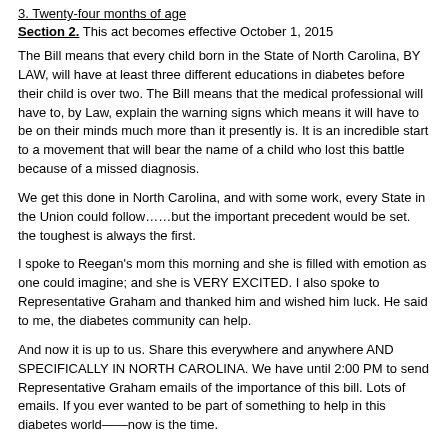3. Twenty-four months of age
Section 2. This act becomes effective October 1, 2015
The Bill means that every child born in the State of North Carolina, BY LAW, will have at least three different educations in diabetes before their child is over two.  The Bill means that the medical professional will have to, by Law, explain the warning signs which means it will have to be on their minds much more than it presently is.  It is an incredible start to a movement that will bear the name of a child who lost this battle because of a missed diagnosis.
We get this done in North Carolina, and with some work, every State in the Union could follow……but the important precedent would be set.  the toughest is always the first.
I spoke to Reegan's mom this morning and she is filled with emotion as one could imagine; and she is VERY EXCITED.  I also spoke to Representative Graham and thanked him and wished him luck.  He said to me, the diabetes community can help.
And now it is up to us.  Share this everywhere and anywhere AND SPECIFICALLY IN NORTH CAROLINA.  We have until 2:00 PM to send Representative Graham emails of the importance of this bill.  Lots of emails.  If you ever wanted to be part of something to help in this diabetes world——now is the time.